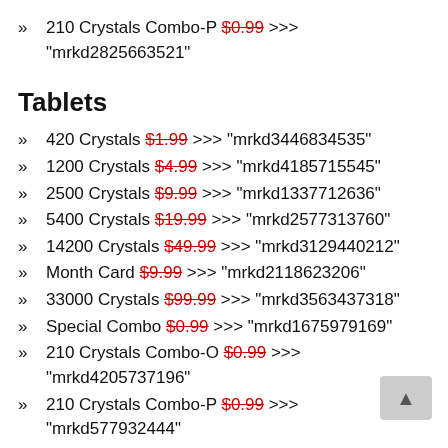210 Crystals Combo-P $0.99 >>> "mrkd2825663521"
Tablets
420 Crystals $1.99 >>> "mrkd3446834535"
1200 Crystals $4.99 >>> "mrkd4185715545"
2500 Crystals $9.99 >>> "mrkd1337712636"
5400 Crystals $19.99 >>> "mrkd2577313760"
14200 Crystals $49.99 >>> "mrkd3129440212"
Month Card $9.99 >>> "mrkd2118623206"
33000 Crystals $99.99 >>> "mrkd3563437318"
Special Combo $0.99 >>> "mrkd1675979169"
210 Crystals Combo-O $0.99 >>> "mrkd4205737196"
210 Crystals Combo-P $0.99 >>> "mrkd577932444"